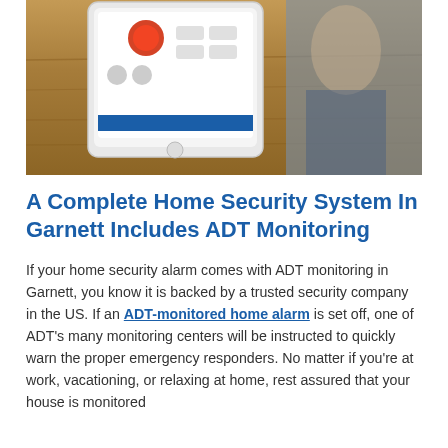[Figure (photo): A white ADT security tablet/panel device sitting on a wooden table, with a person blurred in the background. The screen shows a home security interface.]
A Complete Home Security System In Garnett Includes ADT Monitoring
If your home security alarm comes with ADT monitoring in Garnett, you know it is backed by a trusted security company in the US. If an ADT-monitored home alarm is set off, one of ADT's many monitoring centers will be instructed to quickly warn the proper emergency responders. No matter if you're at work, vacationing, or relaxing at home, rest assured that your house is monitored